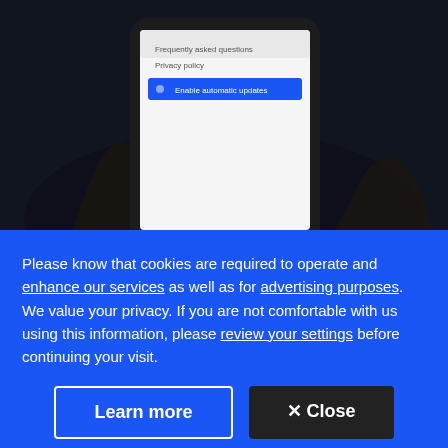[Figure (photo): A person holding a smartphone in a dark setting. The phone screen is visible showing a menu with 'Frequently asked questions', 'Privacy policy', and a blue highlighted button 'Enable automatic updates'.]
Concerns have also been raised in Quebec, as it launches its own vaccine certification system. (Graham Hughes/The Canadian Press)
Robert Fletcher's government, he said received his
Please know that cookies are required to operate and enhance our services as well as for advertising purposes. We value your privacy. If you are not comfortable with us using this information, please review your settings before continuing your visit.